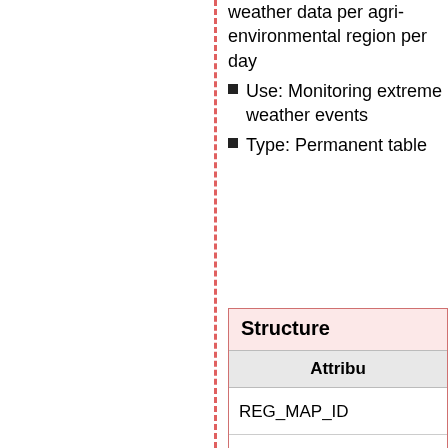weather data per agri-environmental region per day
Use: Monitoring extreme weather events
Type: Permanent table
Structure
| Attribu… |
| --- |
| REG_MAP_ID |
| LANDCOVER_ID |